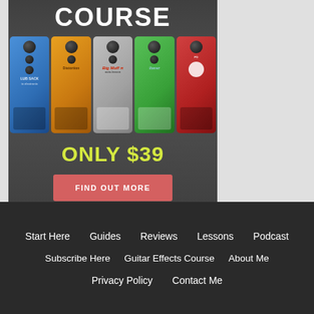[Figure (illustration): Advertisement banner for a guitar effects pedal course showing the word COURSE in large white text, a row of colorful guitar effect pedals (blue, orange, gray, green, red), price text 'ONLY $39' in yellow-green, and a salmon-colored 'FIND OUT MORE' button, all on a dark gray background.]
Start Here   Guides   Reviews   Lessons   Podcast   Subscribe Here   Guitar Effects Course   About Me   Privacy Policy   Contact Me